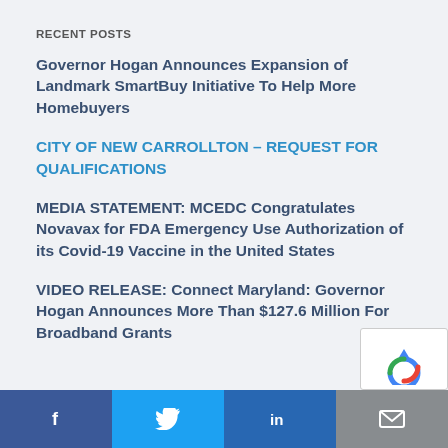RECENT POSTS
Governor Hogan Announces Expansion of Landmark SmartBuy Initiative To Help More Homebuyers
CITY OF NEW CARROLLTON – REQUEST FOR QUALIFICATIONS
MEDIA STATEMENT: MCEDC Congratulates Novavax for FDA Emergency Use Authorization of its Covid-19 Vaccine in the United States
VIDEO RELEASE: Connect Maryland: Governor Hogan Announces More Than $127.6 Million For Broadband Grants
f  Twitter  in  Email